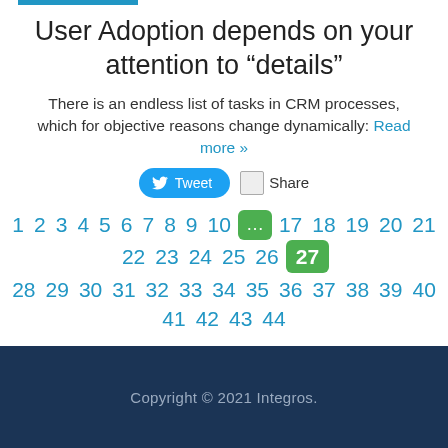User Adoption depends on your attention to “details”
There is an endless list of tasks in CRM processes, which for objective reasons change dynamically: Read more »
[Figure (other): Tweet button and Share button social row]
1 2 3 4 5 6 7 8 9 10 … 17 18 19 20 21 22 23 24 25 26 27 28 29 30 31 32 33 34 35 36 37 38 39 40 41 42 43 44
Copyright © 2021 Integros.